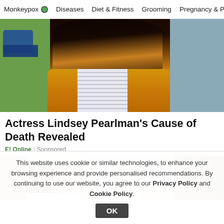Monkeypox | Diseases | Diet & Fitness | Grooming | Pregnancy & Par…
[Figure (photo): Photo of a woman with long dark hair wearing a yellow cardigan and striped top, seated outdoors with green grass and a blue vehicle in background, and a blue-gray textured surface on the right.]
Actress Lindsey Pearlman's Cause of Death Revealed
E! Online | Sponsored
[Figure (photo): Interior hallway/room photo with warm brown tones, artwork on left wall, ceiling light, and fan visible.]
This website uses cookie or similar technologies, to enhance your browsing experience and provide personalised recommendations. By continuing to use our website, you agree to our Privacy Policy and Cookie Policy.